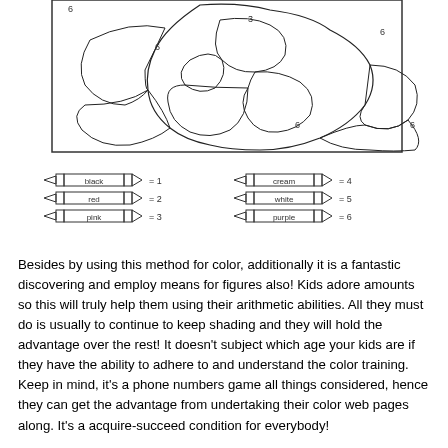[Figure (illustration): A color-by-number coloring page illustration showing a cartoon character/animal with numbered regions. Numbers visible include 3, 6 in various regions.]
[Figure (illustration): Color legend showing 6 crayons with color names and numbers: black=1, red=2, pink=3, cream=4, white=5, purple=6]
Besides by using this method for color, additionally it is a fantastic discovering and employ means for figures also! Kids adore amounts so this will truly help them using their arithmetic abilities. All they must do is usually to continue to keep shading and they will hold the advantage over the rest! It doesn't subject which age your kids are if they have the ability to adhere to and understand the color training. Keep in mind, it's a phone numbers game all things considered, hence they can get the advantage from undertaking their color web pages along. It's a acquire-succeed condition for everybody!